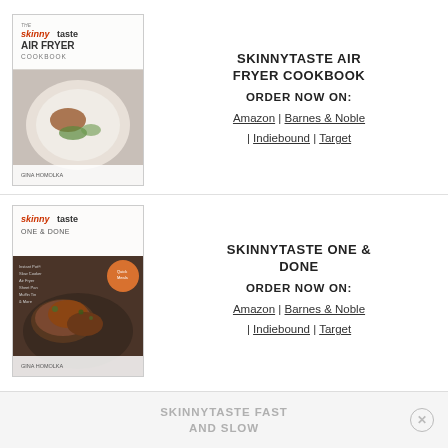[Figure (illustration): Book cover: Skinnytaste Air Fryer Cookbook by Gina Homolka, showing a salad dish on a white plate]
SKINNYTASTE AIR FRYER COOKBOOK
ORDER NOW ON:
Amazon | Barnes & Noble | Indiebound | Target
[Figure (illustration): Book cover: Skinnytaste One & Done by Gina Homolka, showing roasted chicken on a plate]
SKINNYTASTE ONE & DONE
ORDER NOW ON:
Amazon | Barnes & Noble | Indiebound | Target
SKINNYTASTE FAST AND SLOW